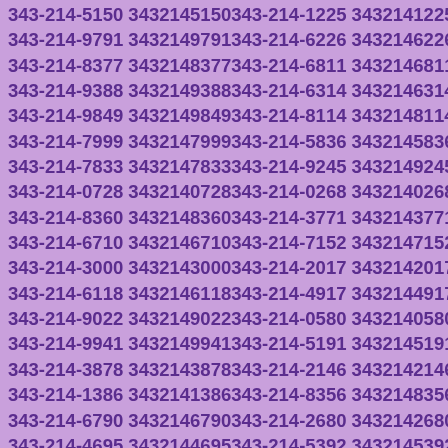343-214-5150 3432145150 343-214-1225 3432141225 343-214-9791 3432149791 343-214-6226 3432146226 343-214-8377 3432148377 343-214-6811 3432146811 343-214-9388 3432149388 343-214-6314 3432146314 343-214-9849 3432149849 343-214-8114 3432148114 343-214-7999 3432147999 343-214-5836 3432145836 343-214-7833 3432147833 343-214-9245 3432149245 343-214-0728 3432140728 343-214-0268 3432140268 343-214-8360 3432148360 343-214-3771 3432143771 343-214-6710 3432146710 343-214-7152 3432147152 343-214-3000 3432143000 343-214-2017 3432142017 343-214-6118 3432146118 343-214-4917 3432144917 343-214-9022 3432149022 343-214-0580 3432140580 343-214-9941 3432149941 343-214-5191 3432145191 343-214-3878 3432143878 343-214-2146 3432142146 343-214-1386 3432141386 343-214-8356 3432148356 343-214-6790 3432146790 343-214-2680 3432142680 343-214-4695 3432144695 343-214-5392 3432145392 343-214-3582 3432143582 343-214-1216 3432141216 343-214-4670 3432144670 343-214-4715 3432144715 343-214-7022 3432147022 343-214-9885 3432149885